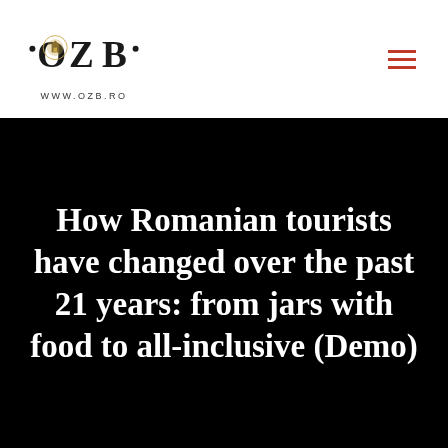[Figure (logo): OZB logo with decorative circular emblem containing a building/castle icon, flanked by dots, with www.ozb.ro text below]
How Romanian tourists have changed over the past 21 years: from jars with food to all-inclusive (Demo)